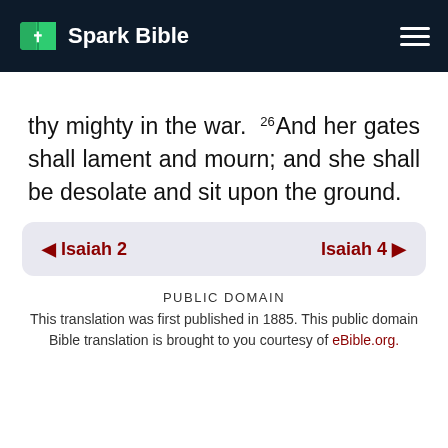Spark Bible
thy mighty in the war. 26 And her gates shall lament and mourn; and she shall be desolate and sit upon the ground.
◀ Isaiah 2    Isaiah 4 ▶
PUBLIC DOMAIN
This translation was first published in 1885. This public domain Bible translation is brought to you courtesy of eBible.org.